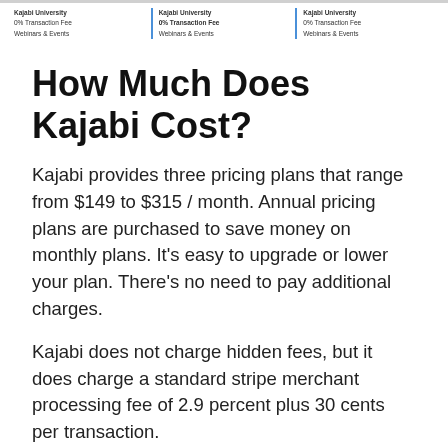Kajabi University | 0% Transaction Fee | Webinars & Events (repeated three times)
How Much Does Kajabi Cost?
Kajabi provides three pricing plans that range from $149 to $315 / month. Annual pricing plans are purchased to save money on monthly plans. It’s easy to upgrade or lower your plan. There’s no need to pay additional charges.
Kajabi does not charge hidden fees, but it does charge a standard stripe merchant processing fee of 2.9 percent plus 30 cents per transaction.